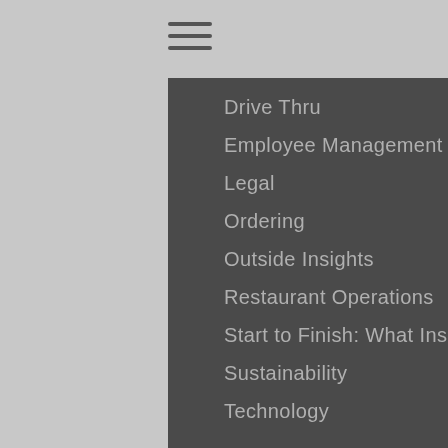Drive Thru
Employee Management
Legal
Ordering
Outside Insights
Restaurant Operations
Start to Finish: What Inspires Execs
Sustainability
Technology
GROWTH
Consumer Trends
Emerging Concepts
Fast Casual
Finance
Franchising
Marketing & Promotions